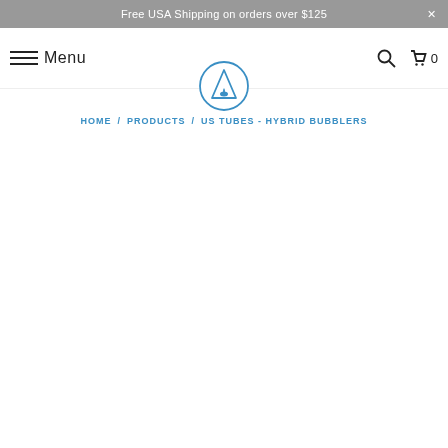Free USA Shipping on orders over $125
Menu
[Figure (logo): US Tubes logo — circular badge with a laboratory flask/triangle icon in blue outline style]
HOME / PRODUCTS / US TUBES - HYBRID BUBBLERS